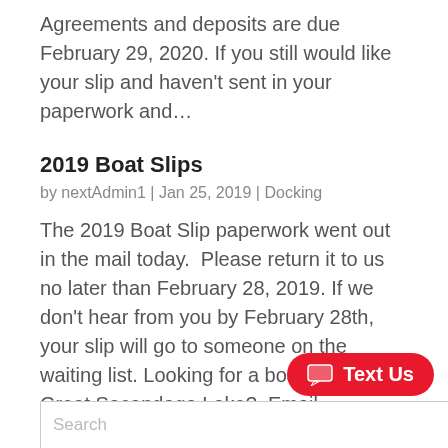Agreements and deposits are due February 29, 2020. If you still would like your slip and haven't sent in your paperwork and…
2019 Boat Slips
by nextAdmin1 | Jan 25, 2019 | Docking
The 2019 Boat Slip paperwork went out in the mail today.  Please return it to us no later than February 28, 2019. If we don't hear from you by February 28th, your slip will go to someone on the waiting list. Looking for a boat slip on the Great Sacandaga Lake?  Email…